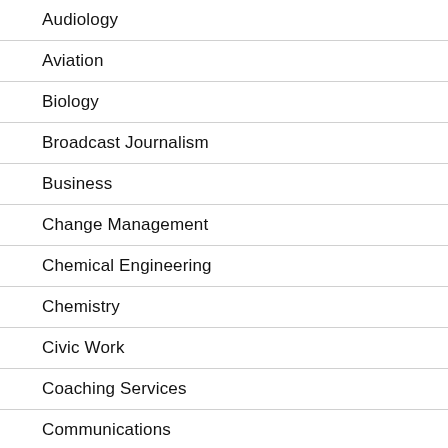Audiology
Aviation
Biology
Broadcast Journalism
Business
Change Management
Chemical Engineering
Chemistry
Civic Work
Coaching Services
Communications